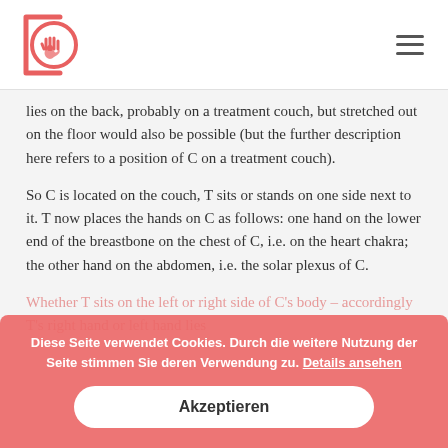[Logo: Jain/chakra hand symbol] [Hamburger menu]
lies on the back, probably on a treatment couch, but stretched out on the floor would also be possible (but the further description here refers to a position of C on a treatment couch).
So C is located on the couch, T sits or stands on one side next to it. T now places the hands on C as follows: one hand on the lower end of the breastbone on the chest of C, i.e. on the heart chakra; the other hand on the abdomen, i.e. the solar plexus of C.
Whether T sits on the left or right side of C's body – accordingly T's right hand or left hand lies
Diese Seite verwendet Cookies. Durch die weitere Nutzung der Seite stimmen Sie deren Verwendung zu. Details ansehen
Akzeptieren